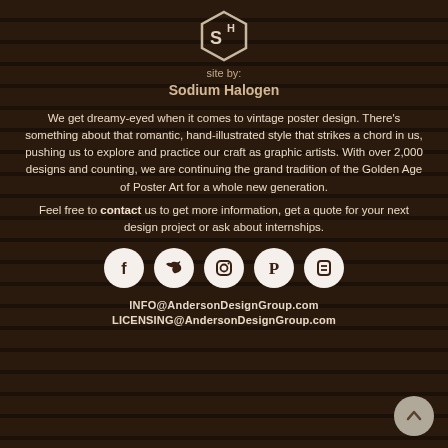[Figure (logo): Sodium Halogen hexagon logo with S and H letters]
site by:
Sodium Halogen
We get dreamy-eyed when it comes to vintage poster design. There's something about that romantic, hand-illustrated style that strikes a chord in us, pushing us to explore and practice our craft as graphic artists. With over 2,000 designs and counting, we are continuing the grand tradition of the Golden Age of Poster Art for a whole new generation.
Feel free to contact us to get more information, get a quote for your next design project or ask about internships.
[Figure (infographic): Social media icons row: Facebook, Twitter, Instagram, Pinterest, Blogger — white circles with dark icons]
INFO@AndersonDesignGroup.com
LICENSING@AndersonDesignGroup.com